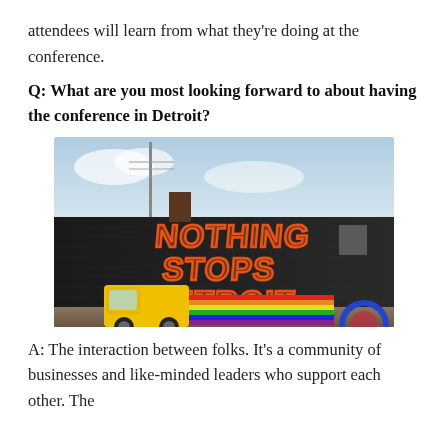attendees will learn from what they're doing at the conference.
Q: What are you most looking forward to about having the conference in Detroit?
[Figure (photo): A photo of a brick building mural with neon-style orange graffiti text reading 'NOTHING STOPS DETROIT', with a yellow van painted at the bottom and colorful stripes and graphic elements.]
A: The interaction between folks. It's a community of businesses and like-minded leaders who support each other. The